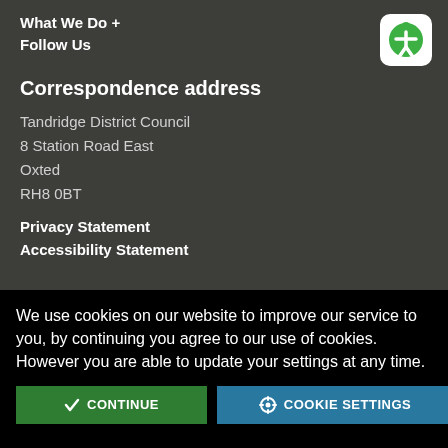What We Do +
Follow Us
[Figure (logo): Accessibility icon: green rounded square with white person/wheelchair symbol]
Correspondence address
Tandridge District Council
8 Station Road East
Oxted
RH8 0BT
Privacy Statement
Accessibility Statement
We use cookies on our website to improve our service to you, by continuing you agree to our use of cookies. However you are able to update your settings at any time.
CONTINUE | COOKIE SETTINGS